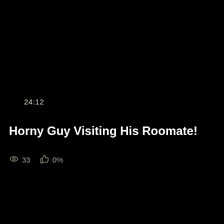24:12
Horny Guy Visiting His Roomate!
33  0%